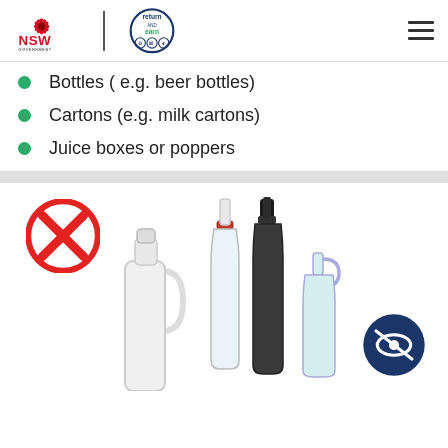[Figure (logo): NSW Government logo and Return and Earn logo in page header with hamburger menu icon]
Bottles ( e.g. beer bottles)
Cartons (e.g. milk cartons)
Juice boxes or poppers
[Figure (photo): Photo of various glass bottles (wine bottles, milk jug, small glass bottle) with a red no-entry X symbol overlay on the left and a blue eye-slash icon on the lower right, indicating these items are not accepted]